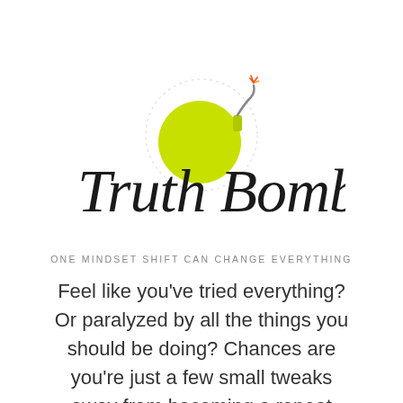[Figure (logo): Truth Bomb! logo with a yellow-green bomb illustration and cursive handwritten text reading 'Truth Bomb!' with a dotted circular outline and orange spark fuse at top]
ONE MINDSET SHIFT CAN CHANGE EVERYTHING
Feel like you've tried everything? Or paralyzed by all the things you should be doing? Chances are you're just a few small tweaks away from becoming a repeat booker! You just need to